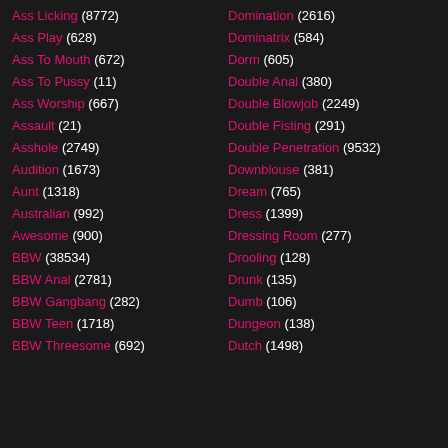Ass Licking (8772)
Ass Play (628)
Ass To Mouth (672)
Ass To Pussy (11)
Ass Worship (667)
Assault (21)
Asshole (2749)
Audition (1673)
Aunt (1318)
Australian (992)
Awesome (900)
BBW (38534)
BBW Anal (2781)
BBW Gangbang (282)
BBW Teen (1718)
BBW Threesome (692)
Domination (2616)
Dominatrix (584)
Dorm (605)
Double Anal (380)
Double Blowjob (2249)
Double Fisting (291)
Double Penetration (9532)
Downblouse (381)
Dream (765)
Dress (1399)
Dressing Room (277)
Drooling (128)
Drunk (135)
Dumb (106)
Dungeon (138)
Dutch (1498)